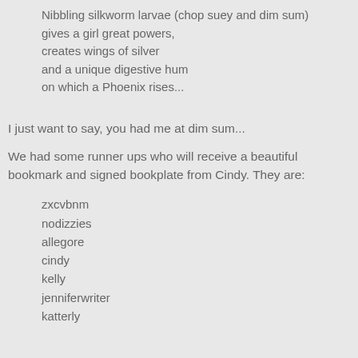Nibbling silkworm larvae (chop suey and dim sum)
gives a girl great powers,
creates wings of silver
and a unique digestive hum
on which a Phoenix rises...
I just want to say, you had me at dim sum...
We had some runner ups who will receive a beautiful bookmark and signed bookplate from Cindy. They are:
zxcvbnm
nodizzies
allegore
cindy
kelly
jenniferwriter
katterly